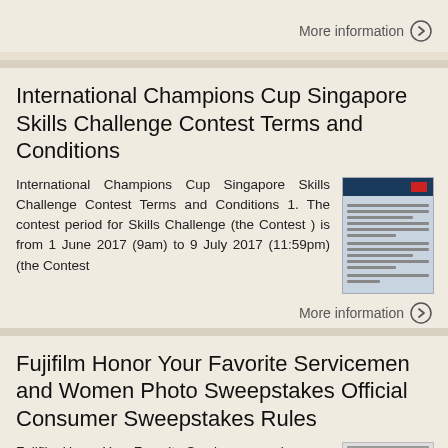More information →
International Champions Cup Singapore Skills Challenge Contest Terms and Conditions
International Champions Cup Singapore Skills Challenge Contest Terms and Conditions 1. The contest period for Skills Challenge (the Contest ) is from 1 June 2017 (9am) to 9 July 2017 (11:59pm) (the Contest
[Figure (screenshot): Thumbnail of document page for International Champions Cup Singapore Skills Challenge Contest Terms and Conditions]
More information →
Fujifilm Honor Your Favorite Servicemen and Women Photo Sweepstakes Official Consumer Sweepstakes Rules
Fujifilm Honor Your Favorite Servicemen and
[Figure (screenshot): Thumbnail of Fujifilm sweepstakes document page]